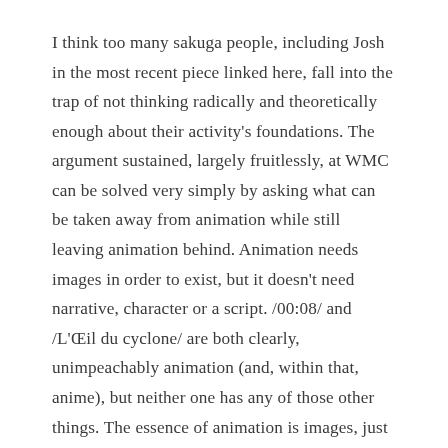I think too many sakuga people, including Josh in the most recent piece linked here, fall into the trap of not thinking radically and theoretically enough about their activity's foundations. The argument sustained, largely fruitlessly, at WMC can be solved very simply by asking what can be taken away from animation while still leaving animation behind. Animation needs images in order to exist, but it doesn't need narrative, character or a script. /00:08/ and /L'Œil du cyclone/ are both clearly, unimpeachably animation (and, within that, anime), but neither one has any of those other things. The essence of animation is images, just as a text can have a story but doesn't need a story to be a text, and so the essence of text is words, not story. In fact, there're also plenty of anime which do have narratives and characters but don't prioritise them. Most people who watch the '82 /Space Adventure Cobra/ film don't watch it for its plotting, and I expect that those who do